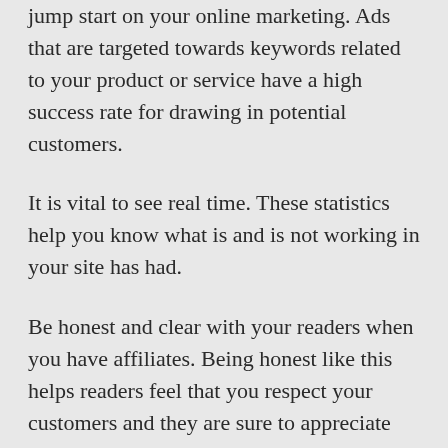jump start on your online marketing. Ads that are targeted towards keywords related to your product or service have a high success rate for drawing in potential customers.
It is vital to see real time. These statistics help you know what is and is not working in your site has had.
Be honest and clear with your readers when you have affiliates. Being honest like this helps readers feel that you respect your customers and they are sure to appreciate that.
Make sure that your marketing is appropriate for the products you are